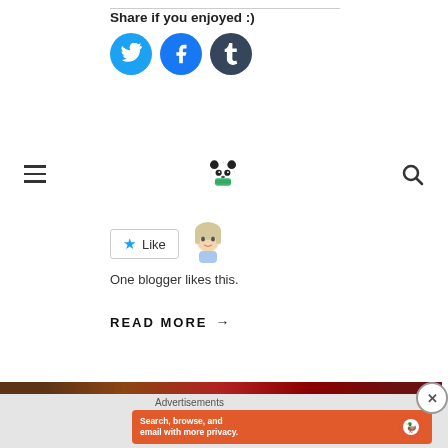Share if you enjoyed :)
[Figure (illustration): Three social media share buttons: Twitter (blue bird), Facebook (blue f), Tumblr (dark blue t)]
[Figure (logo): Panda with mask and maple leaves logo in center of navigation bar]
[Figure (illustration): Like button with star icon and anime-style avatar, with text 'One blogger likes this.']
One blogger likes this.
READ MORE →
[Figure (screenshot): DuckDuckGo advertisement: 'Search, browse, and email with more privacy. All in One Free App' with DuckDuckGo logo and phone mockup on orange background]
Advertisements